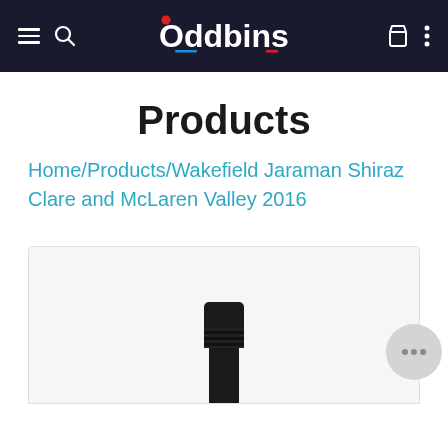Oddbins - navigation header
Products
Home/Products/Wakefield Jaraman Shiraz Clare and McLaren Valley 2016
[Figure (photo): Top of a wine bottle with black capsule and neck visible, shown against a light grey product card background.]